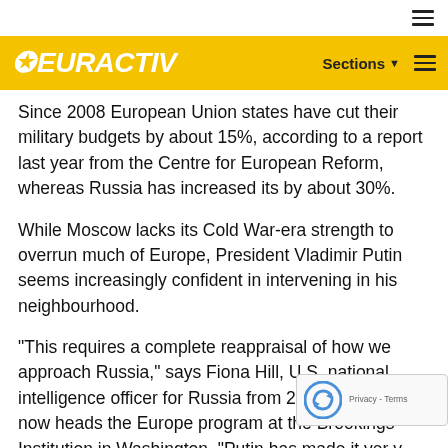EURACTIV — Sections navigation header
Since 2008 European Union states have cut their military budgets by about 15%, according to a report last year from the Centre for European Reform, whereas Russia has increased its by about 30%.
While Moscow lacks its Cold War-era strength to overrun much of Europe, President Vladimir Putin seems increasingly confident in intervening in his neighbourhood.
"This requires a complete reappraisal of how we approach Russia," says Fiona Hill, U.S. national intelligence officer for Russia from 2006 to 2009, and now heads the Europe program at the Brookings Institution in Washington. "Putin has made it very clear he intends to reassert Russia's sphere of influence